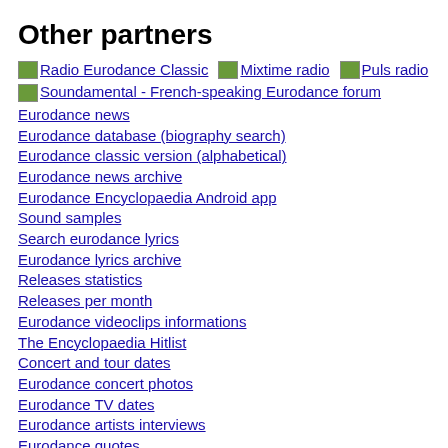Other partners
Radio Eurodance Classic
Mixtime radio
Puls radio
Soundamental - French-speaking Eurodance forum
Eurodance news
Eurodance database (biography search)
Eurodance classic version (alphabetical)
Eurodance news archive
Eurodance Encyclopaedia Android app
Sound samples
Search eurodance lyrics
Eurodance lyrics archive
Releases statistics
Releases per month
Eurodance videoclips informations
The Encyclopaedia Hitlist
Concert and tour dates
Eurodance concert photos
Eurodance TV dates
Eurodance artists interviews
Eurodance quotes
Eurodance and real-TV